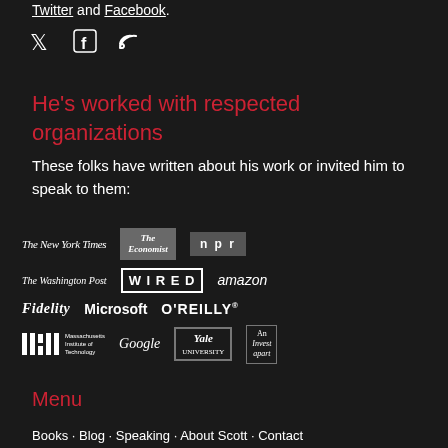Twitter and Facebook.
[Figure (illustration): Social media icons: Twitter bird, Facebook F, RSS feed symbol]
He's worked with respected organizations
These folks have written about his work or invited him to speak to them:
[Figure (logo): Organization logos: The New York Times, The Economist, NPR, The Washington Post, WIRED, amazon, Fidelity, Microsoft, O'REILLY, MIT Massachusetts Institute of Technology, Google, Yale University, An Invest Apart]
Menu
Books · Blog · Speaking · About Scott · Contact